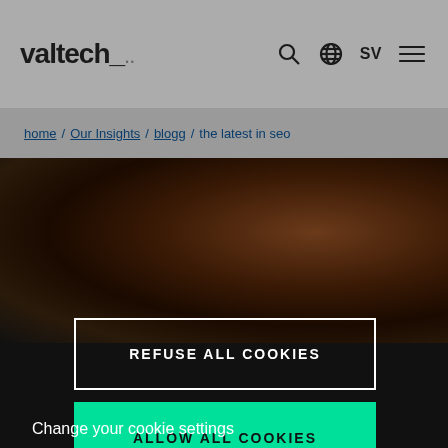valtech_ [logo with navigation icons: search, globe, SV, menu]
home / Our Insights / blogg / the latest in seo
[Figure (photo): Dark blurred hero image with brown/dark tones]
REFUSE ALL COOKIES
ALLOW ALL COOKIES
Change your cookie settings